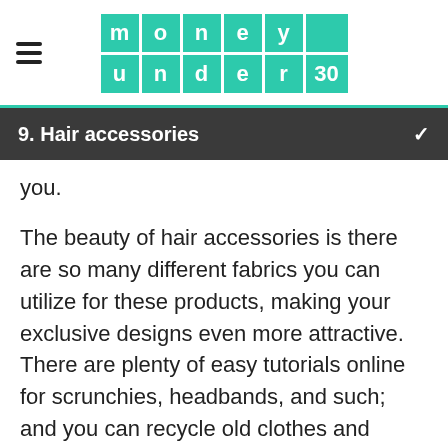money under 30
9. Hair accessories
you.
The beauty of hair accessories is there are so many different fabrics you can utilize for these products, making your exclusive designs even more attractive. There are plenty of easy tutorials online for scrunchies, headbands, and such; and you can recycle old clothes and fabrics for this project too.
If you don't already own a sewing machine, expect to pay $100 or more for a new sewing machine. Or, try your local thrift store for a cheaper, entry-level option.